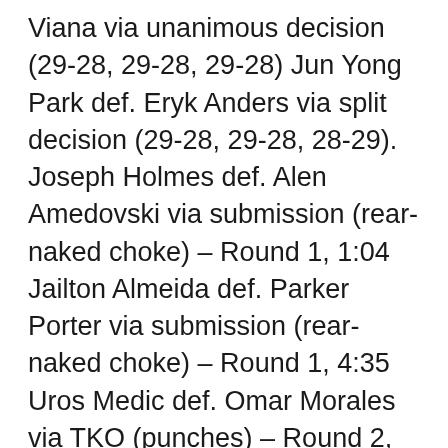Viana via unanimous decision (29-28, 29-28, 29-28) Jun Yong Park def. Eryk Anders via split decision (29-28, 29-28, 28-29). Joseph Holmes def. Alen Amedovski via submission (rear-naked choke) – Round 1, 1:04 Jailton Almeida def. Parker Porter via submission (rear-naked choke) – Round 1, 4:35 Uros Medic def. Omar Morales via TKO (punches) – Round 2, 3:05 Jonathan Martinez def. Vince Morales via unanimous decision (30–27, 30–27, 30–27) Chase Hooper def. Felipe Colares via TKO (punches) – Round 3, 3:00 Sam Hughes def. Elise Reed via TKO (strikes) – Round 3, 3:52 MORE: UFC Fight Night 206 video: Chidi Njokuani also dishes Parker Tochesnia with last bell...